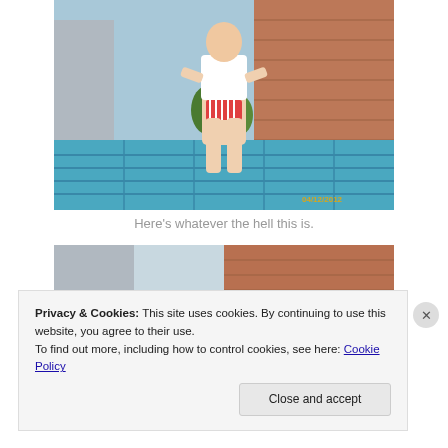[Figure (photo): Woman in white top and red striped bikini bottoms standing by a large pool with a tall hotel building in the background. Timestamp reads 04/12/2012.]
Here's whatever the hell this is.
[Figure (photo): Partial photo showing top of large hotel building and beginning of same scene, partially obscured by cookie banner overlay.]
Privacy & Cookies: This site uses cookies. By continuing to use this website, you agree to their use.
To find out more, including how to control cookies, see here: Cookie Policy
Close and accept